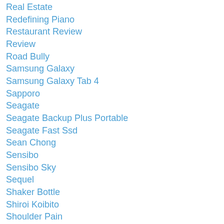Real Estate
Redefining Piano
Restaurant Review
Review
Road Bully
Samsung Galaxy
Samsung Galaxy Tab 4
Sapporo
Seagate
Seagate Backup Plus Portable
Seagate Fast Ssd
Sean Chong
Sensibo
Sensibo Sky
Sequel
Shaker Bottle
Shiroi Koibito
Shoulder Pain
Sidney Chan
Singapore
Sinkhole